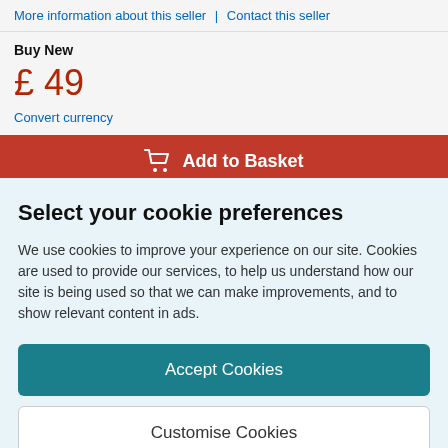More information about this seller | Contact this seller
Buy New
£ 49
Convert currency
Add to Basket
Select your cookie preferences
We use cookies to improve your experience on our site. Cookies are used to provide our services, to help us understand how our site is being used so that we can make improvements, and to show relevant content in ads.
Accept Cookies
Customise Cookies